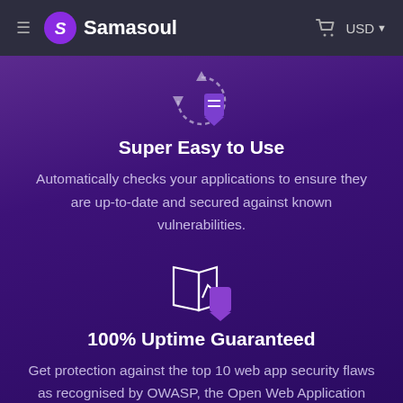Samasoul  USD
[Figure (illustration): Circular arrow refresh/sync icon with a purple shield overlay, outline style in white/grey]
Super Easy to Use
Automatically checks your applications to ensure they are up-to-date and secured against known vulnerabilities.
[Figure (illustration): Open book or frame icon with a purple shield badge overlay, outline style in white]
100% Uptime Guaranteed
Get protection against the top 10 web app security flaws as recognised by OWASP, the Open Web Application